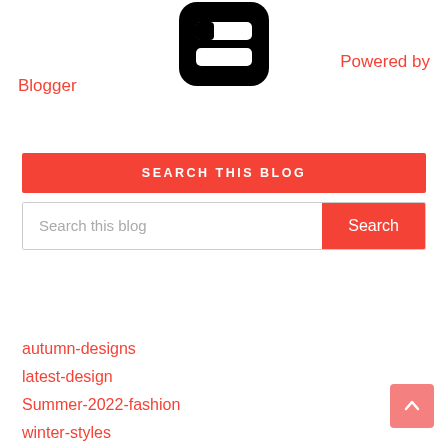[Figure (logo): Blogger logo — white 'B' shape on black rounded square background]
Powered by Blogger
SEARCH THIS BLOG
Search this blog
autumn-designs
latest-design
Summer-2022-fashion
winter-styles